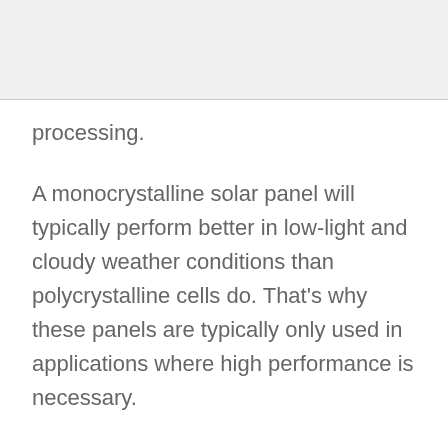processing.
A monocrystalline solar panel will typically perform better in low-light and cloudy weather conditions than polycrystalline cells do. That’s why these panels are typically only used in applications where high performance is necessary.